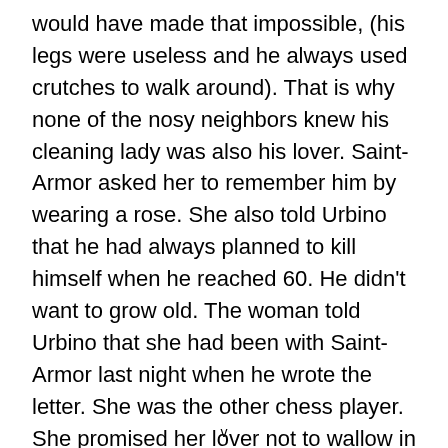would have made that impossible, (his legs were useless and he always used crutches to walk around). That is why none of the nosy neighbors knew his cleaning lady was also his lover. Saint-Armor asked her to remember him by wearing a rose. She also told Urbino that he had always planned to kill himself when he reached 60. He didn't want to grow old. The woman told Urbino that she had been with Saint-Armor last night when he wrote the letter. She was the other chess player. She promised her lover not to wallow in the morning. She will sell his things and spend the rest of her days there.
When Dr. Urbino arrives home, he sees his parrot has
v